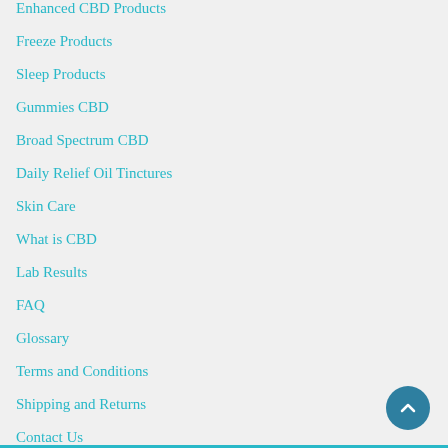Enhanced CBD Products
Freeze Products
Sleep Products
Gummies CBD
Broad Spectrum CBD
Daily Relief Oil Tinctures
Skin Care
What is CBD
Lab Results
FAQ
Glossary
Terms and Conditions
Shipping and Returns
Contact Us
Blog
Sitemap